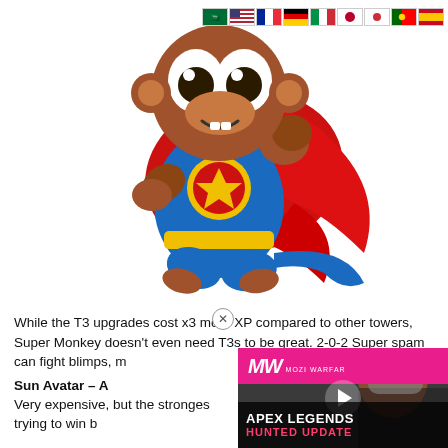[Figure (illustration): Cartoon Super Monkey character in blue superhero suit with red cape, flying pose, with country flag icons in top right corner]
While the T3 upgrades cost x3 more XP compared to other towers, Super Monkey doesn't even need T3s to be great. 2-0-2 Super spam can fight blimps, m[...]with.
Sun Avatar – A
Very expensive, but the stronges[...] long time. If you're trying to win b[...]
[Figure (screenshot): Apex Legends Hunted Update advertisement overlay with MW logo]